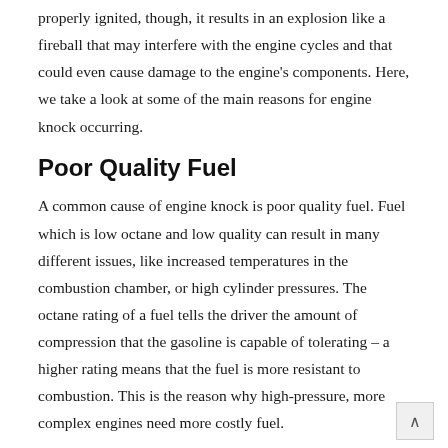properly ignited, though, it results in an explosion like a fireball that may interfere with the engine cycles and that could even cause damage to the engine's components. Here, we take a look at some of the main reasons for engine knock occurring.
Poor Quality Fuel
A common cause of engine knock is poor quality fuel. Fuel which is low octane and low quality can result in many different issues, like increased temperatures in the combustion chamber, or high cylinder pressures. The octane rating of a fuel tells the driver the amount of compression that the gasoline is capable of tolerating – a higher rating means that the fuel is more resistant to combustion. This is the reason why high-pressure, more complex engines need more costly fuel.